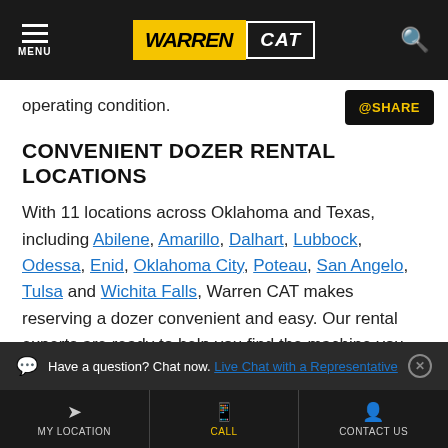MENU | WARREN CAT | Search
operating condition.
CONVENIENT DOZER RENTAL LOCATIONS
With 11 locations across Oklahoma and Texas, including Abilene, Amarillo, Dalhart, Lubbock, Odessa, Enid, Oklahoma City, Poteau, San Angelo, Tulsa and Wichita Falls, Warren CAT makes reserving a dozer convenient and easy. Our rental experts are ready to help you find the machine you need, with a comprehensive selection of Cat
Have a question? Chat now. Live Chat with a Representative
MY LOCATION | CALL | CONTACT US